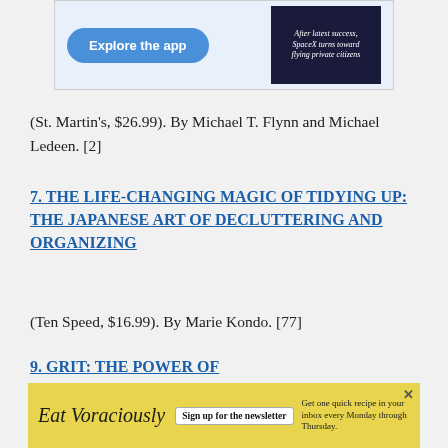[Figure (other): Advertisement banner with 'Explore the app' blue button on left and a newspaper/magazine image with text 'After latest success, SpaceX turns toward flying private citizens' on dark background on right]
(St. Martin's, $26.99). By Michael T. Flynn and Michael Ledeen. [2]
7. THE LIFE-CHANGING MAGIC OF TIDYING UP: THE JAPANESE ART OF DECLUTTERING AND ORGANIZING
(Ten Speed, $16.99). By Marie Kondo. [77]
9. GRIT: THE POWER OF PASSION AND PERSEVERANCE
[Figure (other): Advertisement banner for 'Eat Voraciously' newsletter with yellow background. Text reads: 'Eat Voraciously  Sign up for the newsletter  Get one quick recipe in your inbox every Monday through Thursday.']